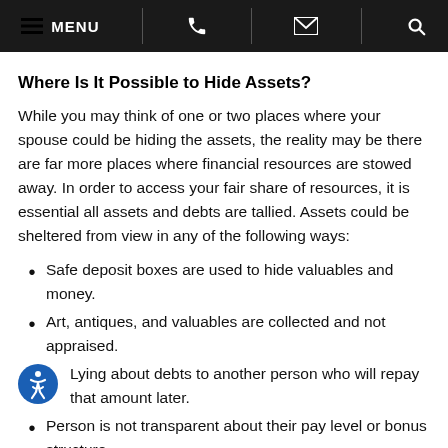MENU [phone] [email] [search]
Where Is It Possible to Hide Assets?
While you may think of one or two places where your spouse could be hiding the assets, the reality may be there are far more places where financial resources are stowed away. In order to access your fair share of resources, it is essential all assets and debts are tallied. Assets could be sheltered from view in any of the following ways:
Safe deposit boxes are used to hide valuables and money.
Art, antiques, and valuables are collected and not appraised.
Lying about debts to another person who will repay that amount later.
Person is not transparent about their pay level or bonus structure.